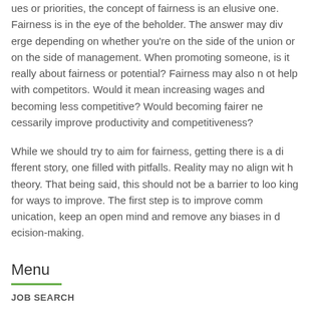ues or priorities, the concept of fairness is an elusive one. Fairness is in the eye of the beholder. The answer may diverge depending on whether you're on the side of the union or on the side of management. When promoting someone, is it really about fairness or potential? Fairness may also not help with competitors. Would it mean increasing wages and becoming less competitive? Would becoming fairer necessarily improve productivity and competitiveness?
While we should try to aim for fairness, getting there is a different story, one filled with pitfalls. Reality may no align with theory. That being said, this should not be a barrier to looking for ways to improve. The first step is to improve communication, keep an open mind and remove any biases in decision-making.
Menu
JOB SEARCH